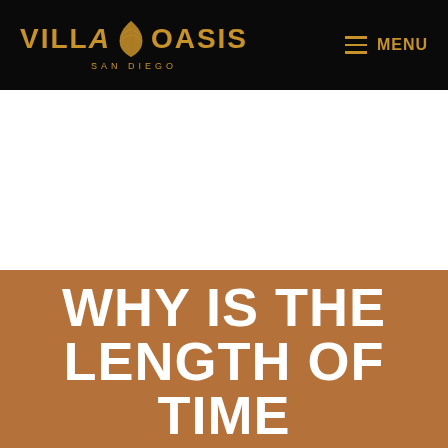VILLA OASIS SAN DIEGO — MENU
WHY IS THE LENGTH OF TIME